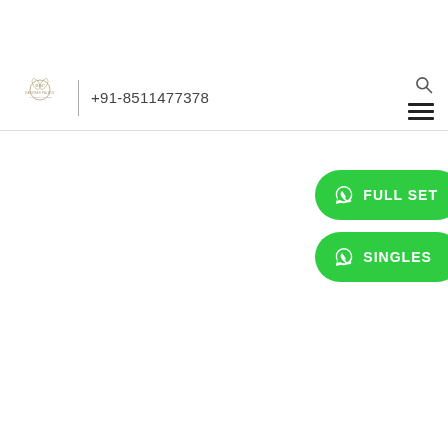BANDHAN PALACE +91-8511477378
FULL SET
SINGLES